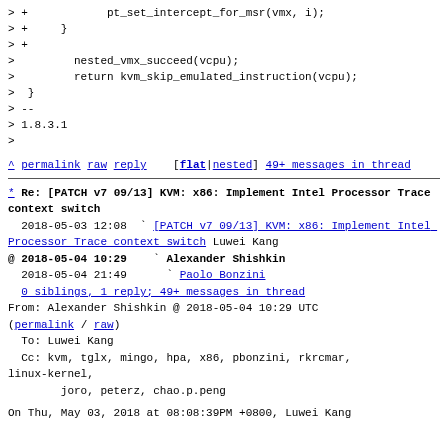> +            pt_set_intercept_for_msr(vmx, i);
> +     }
> +
>         nested_vmx_succeed(vcpu);
>         return kvm_skip_emulated_instruction(vcpu);
>  }
> --
> 1.8.3.1
>
^ permalink raw reply   [flat|nested] 49+ messages in thread
* Re: [PATCH v7 09/13] KVM: x86: Implement Intel Processor Trace context switch
  2018-05-03 12:08  ` [PATCH v7 09/13] KVM: x86: Implement Intel Processor Trace context switch  Luwei Kang
@ 2018-05-04 10:29     ` Alexander Shishkin
  2018-05-04 21:49       ` Paolo Bonzini
  0 siblings, 1 reply; 49+ messages in thread
From: Alexander Shishkin @ 2018-05-04 10:29 UTC (permalink / raw)
  To: Luwei Kang
  Cc: kvm, tglx, mingo, hpa, x86, pbonzini, rkrcmar, linux-kernel,
        joro, peterz, chao.p.peng

On Thu, May 03, 2018 at 08:08:39PM +0800, Luwei Kang